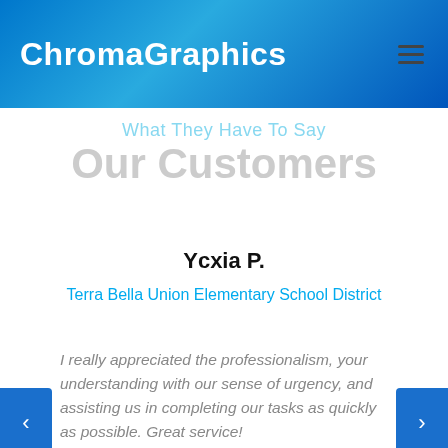ChromaGraphics
What They Have To Say
Our Customers
Ycxia P.
Terra Bella Union Elementary School District
I really appreciated the professionalism, your understanding with our sense of urgency, and assisting us in completing our tasks as quickly as possible. Great service!